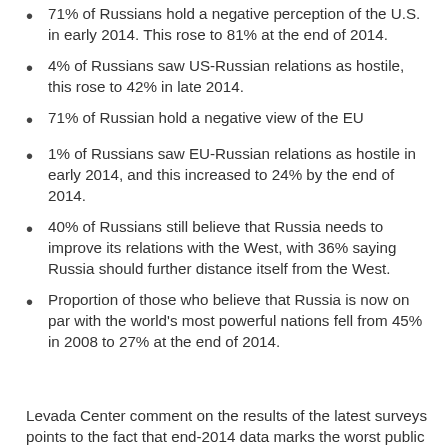71% of Russians hold a negative perception of the U.S. in early 2014. This rose to 81% at the end of 2014.
4% of Russians saw US-Russian relations as hostile, this rose to 42% in late 2014.
71% of Russian hold a negative view of the EU
1% of Russians saw EU-Russian relations as hostile in early 2014, and this increased to 24% by the end of 2014.
40% of Russians still believe that Russia needs to improve its relations with the West, with 36% saying Russia should further distance itself from the West.
Proportion of those who believe that Russia is now on par with the world's most powerful nations fell from 45% in 2008 to 27% at the end of 2014.
Levada Center comment on the results of the latest surveys points to the fact that end-2014 data marks the worst public